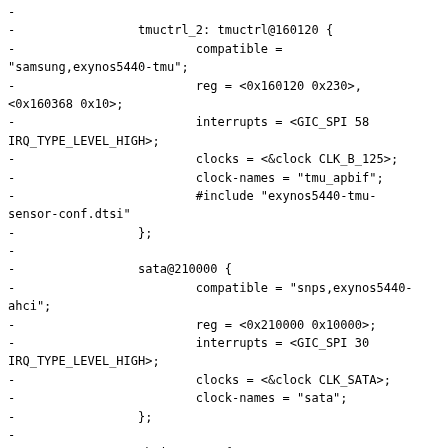- 
-                 tmuctrl_2: tmuctrl@160120 {
-                         compatible =
"samsung,exynos5440-tmu";
-                         reg = <0x160120 0x230>,
<0x160368 0x10>;
-                         interrupts = <GIC_SPI 58
IRQ_TYPE_LEVEL_HIGH>;
-                         clocks = <&clock CLK_B_125>;
-                         clock-names = "tmu_apbif";
-                         #include "exynos5440-tmu-
sensor-conf.dtsi"
-                 };
-
-                 sata@210000 {
-                         compatible = "snps,exynos5440-
ahci";
-                         reg = <0x210000 0x10000>;
-                         interrupts = <GIC_SPI 30
IRQ_TYPE_LEVEL_HIGH>;
-                         clocks = <&clock CLK_SATA>;
-                         clock-names = "sata";
-                 };
-
-                 ohci@220000 {
-                         compatible =
"samsung,exynos5440-ohci";
-                         reg = <0x220000 0x1000>;
-                         interrupts = <GIC_SPI 29
IRQ_TYPE_LEVEL_HIGH>;